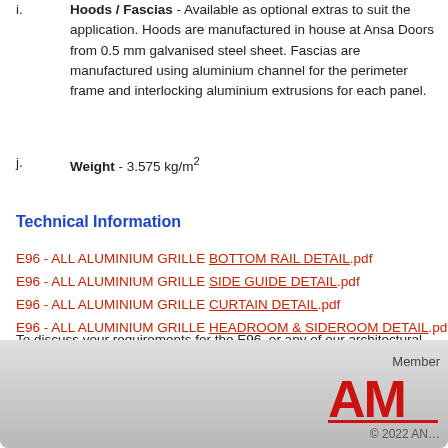i. Hoods / Fascias - Available as optional extras to suit the application. Hoods are manufactured in house at Ansa Doors from 0.5 mm galvanised steel sheet. Fascias are manufactured using aluminium channel for the perimeter frame and interlocking aluminium extrusions for each panel.
j. Weight - 3.575 kg/m²
Technical Information
E96 - ALL ALUMINIUM GRILLE BOTTOM RAIL DETAIL.pdf
E96 - ALL ALUMINIUM GRILLE SIDE GUIDE DETAIL.pdf
E96 - ALL ALUMINIUM GRILLE CURTAIN DETAIL.pdf
E96 - ALL ALUMINIUM GRILLE HEADROOM & SIDEROOM DETAIL.pdf
To discuss your requirements for the E96, or any of our architectural aluminium grilles, select your state on the contact us page, and call or email your nearest ANSA Doors.
Member [of association] © 2022 A[NSA]